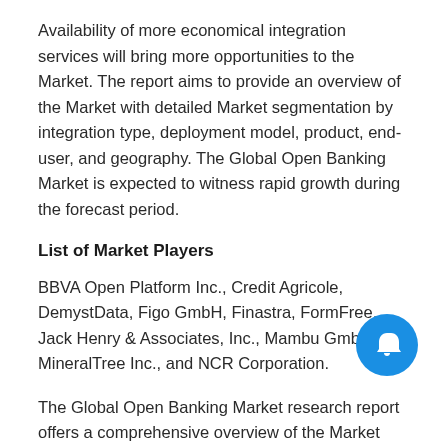Availability of more economical integration services will bring more opportunities to the Market. The report aims to provide an overview of the Market with detailed Market segmentation by integration type, deployment model, product, end-user, and geography. The Global Open Banking Market is expected to witness rapid growth during the forecast period.
List of Market Players
BBVA Open Platform Inc., Credit Agricole, DemystData, Figo GmbH, Finastra, FormFree, Jack Henry & Associates, Inc., Mambu GmbH, MineralTree Inc., and NCR Corporation.
The Global Open Banking Market research report offers a comprehensive overview of the Market and all the important aspects related to it. The report offers a microscopic view of the present and future Market demands. The report includes